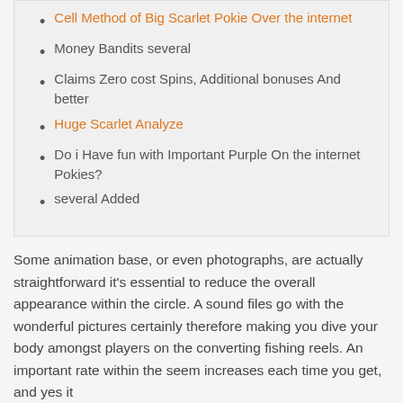Cell Method of Big Scarlet Pokie Over the internet
Money Bandits several
Claims Zero cost Spins, Additional bonuses And better
Huge Scarlet Analyze
Do i Have fun with Important Purple On the internet Pokies?
several Added
Some animation base, or even photographs, are actually straightforward it's essential to reduce the overall appearance within the circle. A sound files go with the wonderful pictures certainly therefore making you dive your body amongst players on the converting fishing reels. An important rate within the seem increases each time you get, and yes it